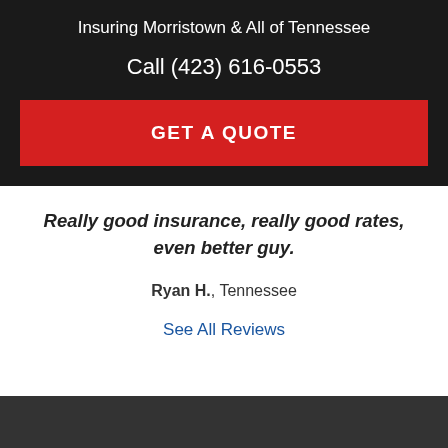Insuring Morristown & All of Tennessee
Call (423) 616-0553
GET A QUOTE
Really good insurance, really good rates, even better guy.
Ryan H., Tennessee
See All Reviews